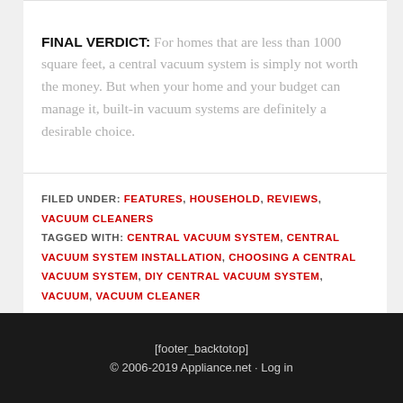FINAL VERDICT: For homes that are less than 1000 square feet, a central vacuum system is simply not worth the money. But when your home and your budget can manage it, built-in vacuum systems are definitely a desirable choice.
FILED UNDER: FEATURES, HOUSEHOLD, REVIEWS, VACUUM CLEANERS
TAGGED WITH: CENTRAL VACUUM SYSTEM, CENTRAL VACUUM SYSTEM INSTALLATION, CHOOSING A CENTRAL VACUUM SYSTEM, DIY CENTRAL VACUUM SYSTEM, VACUUM, VACUUM CLEANER
[footer_backtotop]
© 2006-2019 Appliance.net · Log in